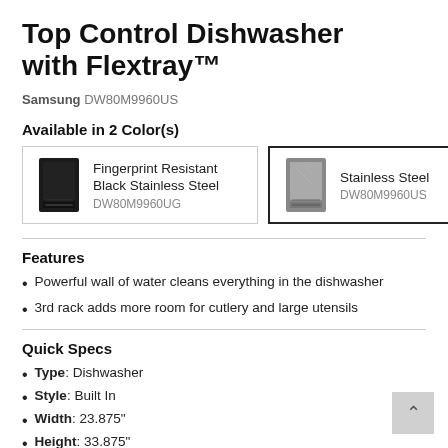Top Control Dishwasher with Flextray™
Samsung DW80M9960US
Available in 2 Color(s)
[Figure (other): Color option card: Fingerprint Resistant Black Stainless Steel, model DW80M9960UG with small dishwasher image]
[Figure (other): Color option card (selected): Stainless Steel, model DW80M9960US with small dishwasher image]
Features
Powerful wall of water cleans everything in the dishwasher
3rd rack adds more room for cutlery and large utensils
Quick Specs
Type: Dishwasher
Style: Built In
Width: 23.875"
Height: 33.875"